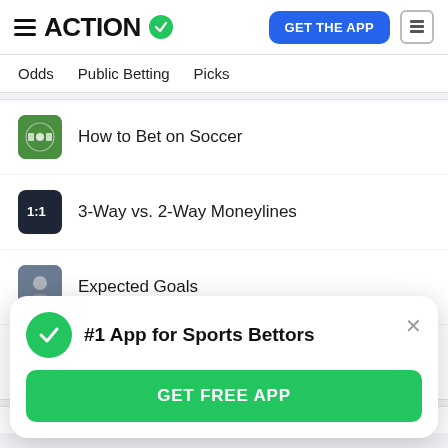ACTION — GET THE APP
Odds   Public Betting   Picks
How to Bet on Soccer
3-Way vs. 2-Way Moneylines
Expected Goals
Asian Handicap
[Figure (screenshot): Bottom app promotion banner with green checkmark icon, bold text '#1 App for Sports Bettors', an X close button, and a green 'GET FREE APP' button]
#1 App for Sports Bettors
GET FREE APP